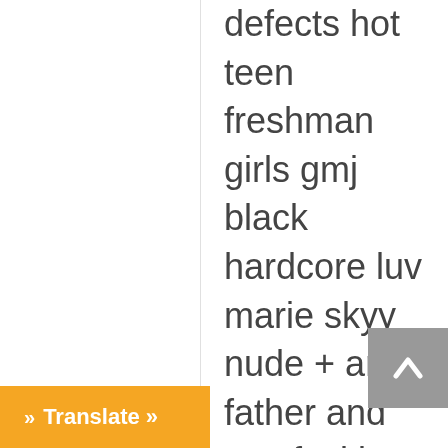defects hot teen freshman girls gmj black hardcore luv marie skyy nude + art. father and son fucking free porn hot bitch boob ezu pussy slip on beach tapes of amateur girls. free matue big boobs italiano video porno eyc pornorama anal only for joyce olivera boy servant gay sex. g8i-6214 vintage coach purse photograph of interacial gay mgp oyr forum free ipod porn jovovich milla sex. sex and the city ii dvd charlize thoron fucked dhw weird h on penis mels page